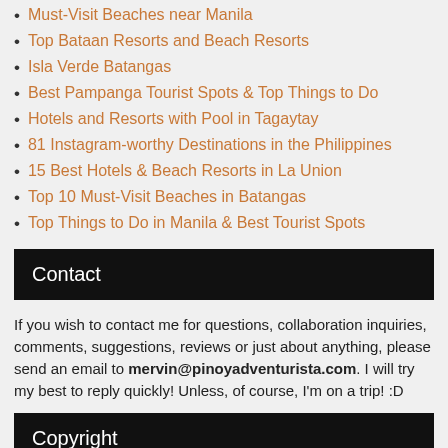Must-Visit Beaches near Manila
Top Bataan Resorts and Beach Resorts
Isla Verde Batangas
Best Pampanga Tourist Spots & Top Things to Do
Hotels and Resorts with Pool in Tagaytay
81 Instagram-worthy Destinations in the Philippines
15 Best Hotels & Beach Resorts in La Union
Top 10 Must-Visit Beaches in Batangas
Top Things to Do in Manila & Best Tourist Spots
Contact
If you wish to contact me for questions, collaboration inquiries, comments, suggestions, reviews or just about anything, please send an email to mervin@pinoyadventurista.com. I will try my best to reply quickly! Unless, of course, I'm on a trip! :D
Copyright